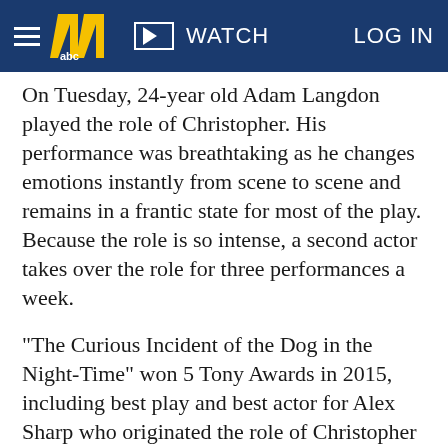≡  11 abc  ▶ WATCH  LOG IN
On Tuesday, 24-year old Adam Langdon played the role of Christopher. His performance was breathtaking as he changes emotions instantly from scene to scene and remains in a frantic state for most of the play. Because the role is so intense, a second actor takes over the role for three performances a week.
"The Curious Incident of the Dog in the Night-Time" won 5 Tony Awards in 2015, including best play and best actor for Alex Sharp who originated the role of Christopher on Broadway.
"The Curious Incident" is playing at DPAC through Sunday, February 26.